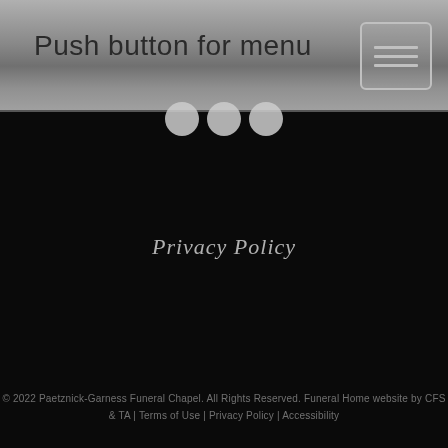Push button for menu
Privacy Policy
© 2022 Paetznick-Garness Funeral Chapel. All Rights Reserved. Funeral Home website by CFS & TA | Terms of Use | Privacy Policy | Accessibility